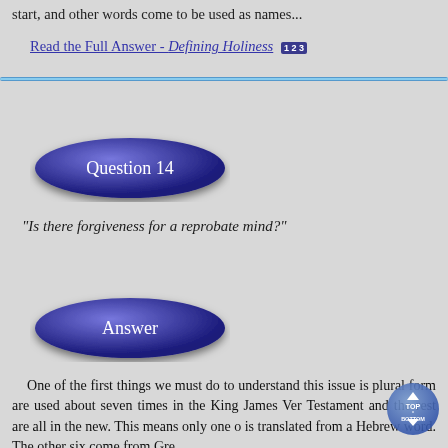start, and other words come to be used as names...
Read the Full Answer - Defining Holiness 1 2 3
[Figure (other): Horizontal divider line, blue gradient]
[Figure (other): Blue oval button labeled 'Question 14']
"Is there forgiveness for a reprobate mind?"
[Figure (other): Blue oval button labeled 'Answer']
One of the first things we must do to understand this issue is plural form are used about seven times in the King James Version. Testament and the rest are all in the new. This means only one o is translated from a Hebrew word. The other six come from Gre...